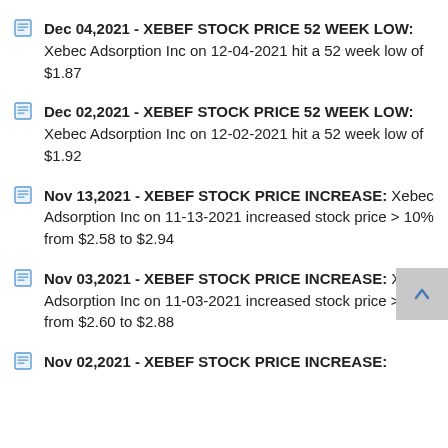Dec 04,2021 - XEBEF STOCK PRICE 52 WEEK LOW: Xebec Adsorption Inc on 12-04-2021 hit a 52 week low of $1.87
Dec 02,2021 - XEBEF STOCK PRICE 52 WEEK LOW: Xebec Adsorption Inc on 12-02-2021 hit a 52 week low of $1.92
Nov 13,2021 - XEBEF STOCK PRICE INCREASE: Xebec Adsorption Inc on 11-13-2021 increased stock price > 10% from $2.58 to $2.94
Nov 03,2021 - XEBEF STOCK PRICE INCREASE: Xebec Adsorption Inc on 11-03-2021 increased stock price > 10% from $2.60 to $2.88
Nov 02,2021 - XEBEF STOCK PRICE INCREASE: